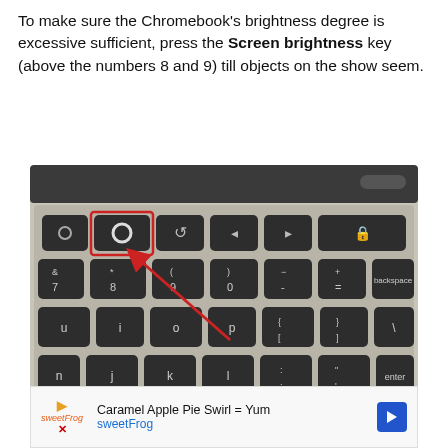To make sure the Chromebook's brightness degree is excessive sufficient, press the Screen brightness key (above the numbers 8 and 9) till objects on the show seem.
[Figure (photo): Photo of a Chromebook keyboard showing the top function row with the screen brightness key highlighted in a red rectangle, and a red arrow pointing to the key from the 9 key area. Visible keys include function row icons, number row (&7, *8, (9, )0, -, +, backspace), and letter keys (u, i, o, p, [, ], \, j, k, l, ;, ', enter).]
Caramel Apple Pie Swirl = Yum sweetFrog